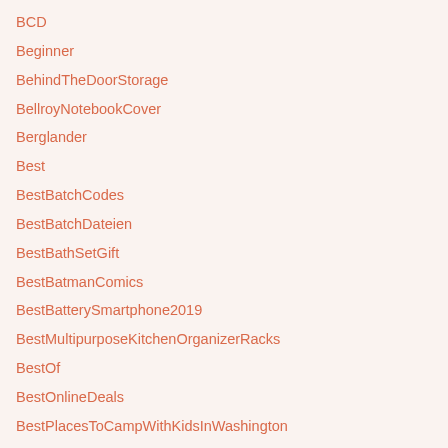BCD
Beginner
BehindTheDoorStorage
BellroyNotebookCover
Berglander
Best
BestBatchCodes
BestBatchDateien
BestBathSetGift
BestBatmanComics
BestBatterySmartphone2019
BestMultipurposeKitchenOrganizerRacks
BestOf
BestOnlineDeals
BestPlacesToCampWithKidsInWashington